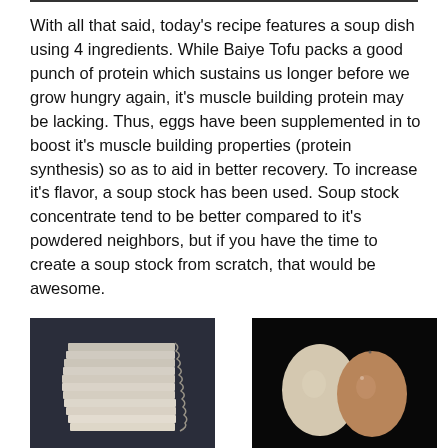With all that said, today's recipe features a soup dish using 4 ingredients. While Baiye Tofu packs a good punch of protein which sustains us longer before we grow hungry again, it's muscle building protein may be lacking. Thus, eggs have been supplemented in to boost it's muscle building properties (protein synthesis) so as to aid in better recovery. To increase it's flavor, a soup stock has been used. Soup stock concentrate tend to be better compared to it's powdered neighbors, but if you have the time to create a soup stock from scratch, that would be awesome.
[Figure (photo): Photo of Baiye Tofu (white layered tofu sheets) on a dark background]
[Figure (photo): Photo of two eggs (one light/white and one brown) on a dark background]